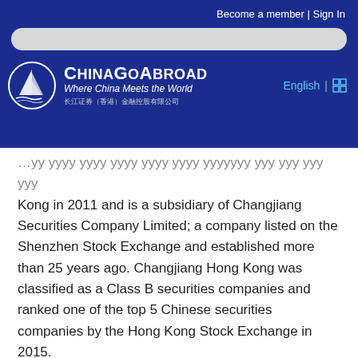Become a member | Sign In
[Figure (logo): ChinaGoAbroad logo with sailboat icon, tagline 'Where China Meets the World', and Chinese characters below]
Kong in 2011 and is a subsidiary of Changjiang Securities Company Limited; a company listed on the Shenzhen Stock Exchange and established more than 25 years ago. Changjiang Hong Kong was classified as a Class B securities companies and ranked one of the top 5 Chinese securities companies by the Hong Kong Stock Exchange in 2015.
Organization Chart